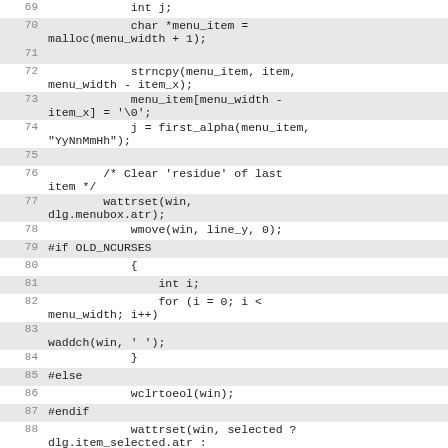Source code listing, lines 69-88, showing C code for menu item handling with ncurses library